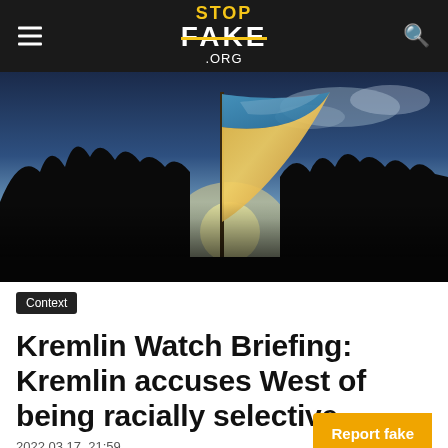STOP FAKE .ORG
[Figure (photo): Ukrainian flag waving against a dramatic sky with dark silhouetted trees and sunlight behind the flag]
Context
Kremlin Watch Briefing: Kremlin accuses West of being racially selective
2022.03.17. 21:59
Report fake